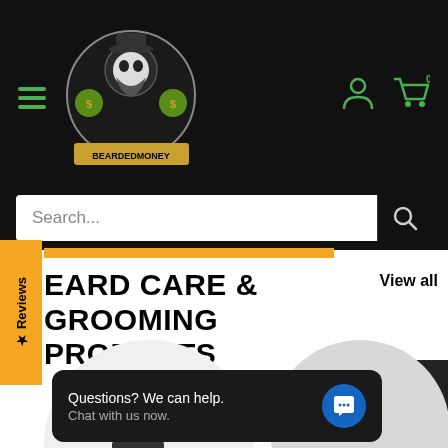[Figure (screenshot): E-commerce website screenshot for BeardedMoney, showing navigation bar with hamburger menu, logo, user and cart icons, search bar, reviews tab, section title 'BEARD CARE & GROOMING PRODUCTS', product images, and a chat popup.]
BEARD CARE & GROOMING PRODUCTS
View all
Questions? We can help. Chat with us now.
Search...
★ Reviews